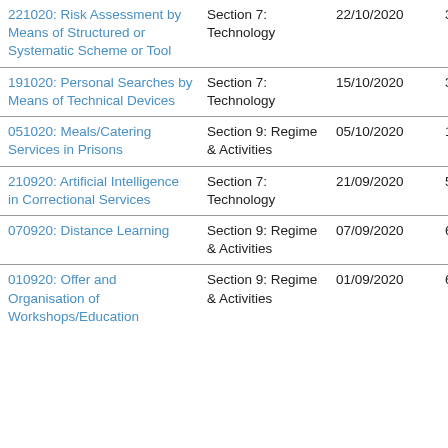| Topic | Section | Date | # |
| --- | --- | --- | --- |
| 221020: Risk Assessment by Means of Structured or Systematic Scheme or Tool | Section 7: Technology | 22/10/2020 | 3 |
| 191020: Personal Searches by Means of Technical Devices | Section 7: Technology | 15/10/2020 | 3 |
| 051020: Meals/Catering Services in Prisons | Section 9: Regime & Activities | 05/10/2020 | 1 |
| 210920: Artificial Intelligence in Correctional Services | Section 7: Technology | 21/09/2020 | 5 |
| 070920: Distance Learning | Section 9: Regime & Activities | 07/09/2020 | 6 |
| 010920: Offer and Organisation of Workshops/Education | Section 9: Regime & Activities | 01/09/2020 | 6 |